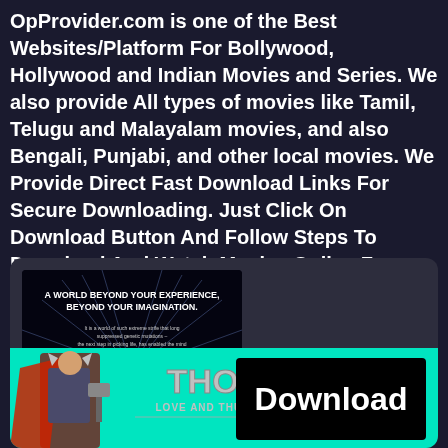OpProvider.com is one of the Best Websites/Platform For Bollywood, Hollywood and Indian Movies and Series. We also provide All types of movies like Tamil, Telugu and Malayalam movies, and also Bengali, Punjabi, and other local movies. We Provide Direct Fast Download Links For Secure Downloading. Just Click On Download Button And Follow Steps To Download And Watch Movies Online For Free.
[Figure (screenshot): Screenshot of a movie page with a dark sci-fi poster (A World Beyond Your Experience, Beyond Your Imagination), a Thor figure on the left, Thor Love and Thunder logo in the center, and a Download button on the right against a teal/cyan background.]